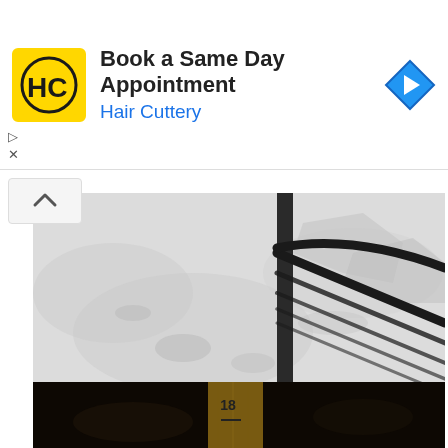[Figure (screenshot): Hair Cuttery advertisement banner: yellow square logo with HC letters, text 'Book a Same Day Appointment' and 'Hair Cuttery' in blue, blue diamond navigation icon on right]
[Figure (photo): Overhead view of snow-covered ground with black metal railing/stair rail and snow-dusted surfaces]
Friday night we opted to stay in for dinner and then Shoo and I got some time out in the snow. I shoveled our sidewalk and front porch, not that it actually made a difference in the long run.
[Figure (photo): Dark nighttime photo showing a wooden post or stake with the number 18 marked on it, mostly dark background]